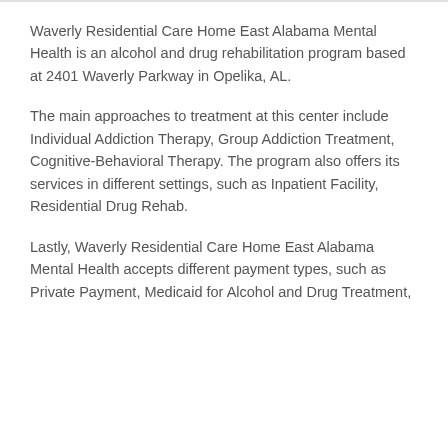Waverly Residential Care Home East Alabama Mental Health is an alcohol and drug rehabilitation program based at 2401 Waverly Parkway in Opelika, AL.
The main approaches to treatment at this center include Individual Addiction Therapy, Group Addiction Treatment, Cognitive-Behavioral Therapy. The program also offers its services in different settings, such as Inpatient Facility, Residential Drug Rehab.
Lastly, Waverly Residential Care Home East Alabama Mental Health accepts different payment types, such as Private Payment, Medicaid for Alcohol and Drug Treatment,